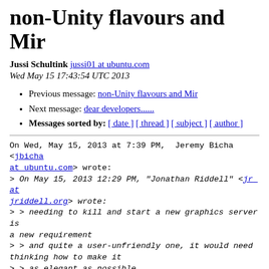non-Unity flavours and Mir
Jussi Schultink jussi01 at ubuntu.com
Wed May 15 17:43:54 UTC 2013
Previous message: non-Unity flavours and Mir
Next message: dear developers......
Messages sorted by: [ date ] [ thread ] [ subject ] [ author ]
On Wed, May 15, 2013 at 7:39 PM, Jeremy Bicha <jbicha at ubuntu.com> wrote:
> On May 15, 2013 12:29 PM, "Jonathan Riddell" <jr at jriddell.org> wrote:
> > needing to kill and start a new graphics server is a new requirement
> > and quite a user-unfriendly one, it would need thinking how to make it
> > as elegant as possible.
>
> Yes but that's the worst-case. Ideally LightDM would be the one display
> manager that supports *everything*. I mean already GNOME doesn't work as
> well without GDM but that's not really Canonical's
> fault.